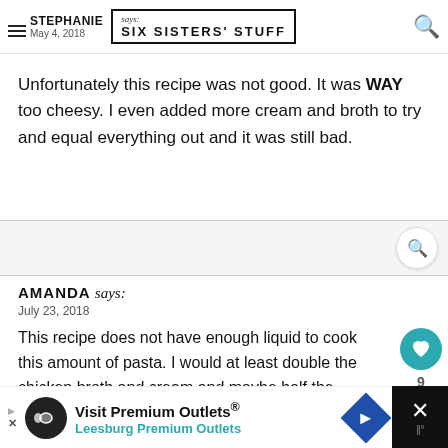STEPHANIE says: SIX SISTERS' STUFF — May 4, 2018
Unfortunately this recipe was not good. It was WAY too cheesy. I even added more cream and broth to try and equal everything out and it was still bad.
AMANDA says: July 23, 2018 — This recipe does not have enough liquid to cook this amount of pasta. I would at least double the chicken broth and cream and maybe half the amount of cheese. I had to add more broth and cream TWICE. Also, it was too cheesy and I love cheese.
Visit Premium Outlets® Leesburg Premium Outlets